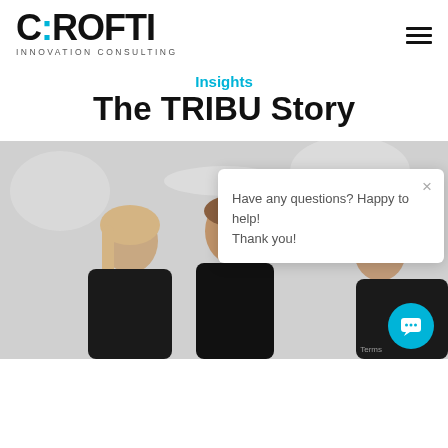[Figure (logo): CROFTI Innovation Consulting logo — bold black text with cyan colon dot, subtitle 'INNOVATION CONSULTING' in spaced caps]
Insights
The TRIBU Story
[Figure (photo): Photo of three people (two women and one man) wearing black t-shirts against a white/grey background, with a chat widget popup overlay showing 'Have any questions? Happy to help! Thank you!']
Have any questions? Happy to help!
Thank you!